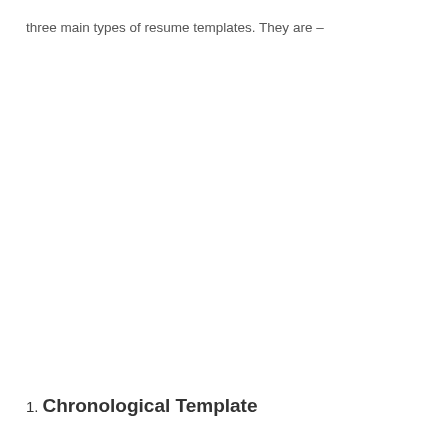three main types of resume templates. They are –
1. Chronological Template